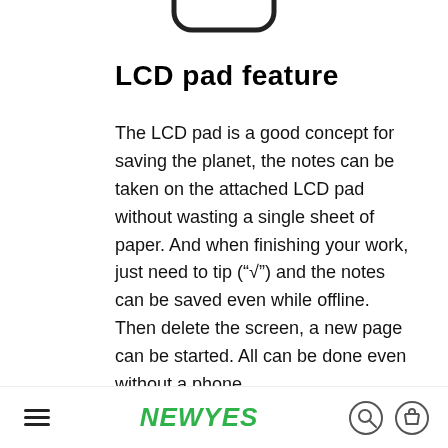[Figure (illustration): Partial view of a device/phone bottom edge showing rounded rectangle outline at top of page]
LCD pad feature
The LCD pad is a good concept for saving the planet, the notes can be taken on the attached LCD pad without wasting a single sheet of paper. And when finishing your work, just need to tip (“√”) and the notes can be saved even while offline. Then delete the screen, a new page can be started. All can be done even without a phone
NEWYES